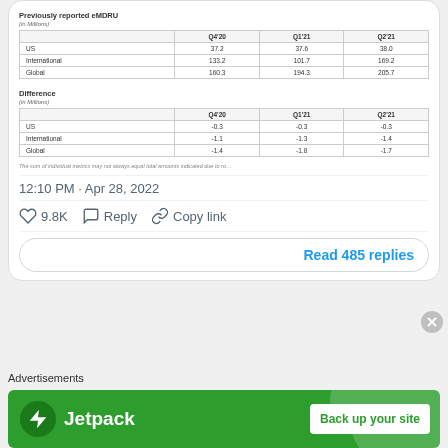Previously reported eMDRU
(in Millions)
|  | Q4'20 | Q1'21 | Q2'21 |
| --- | --- | --- | --- |
| US | 37.2 | 37.6 | 38.0 |
| International | 133.2 | 101.7 | 169.2 |
| Global | 160.3 | 194.3 | 205.7 |
Difference
(in Millions)
|  | Q4'20 | Q1'21 | Q2'21 |
| --- | --- | --- | --- |
| US | -0.3 | -0.3 | -0.3 |
| International | -1.1 | -1.3 | -1.4 |
| Global | -1.4 | -1.8 | -1.7 |
The sum of individual metrics may not always equal total amounts indicated due to ro…
12:10 PM · Apr 28, 2022
♡ 9.8K   Reply   Copy link
Read 485 replies
Advertisements
[Figure (other): Jetpack advertisement banner with green background, lightning bolt logo, and 'Back up your site' white button]